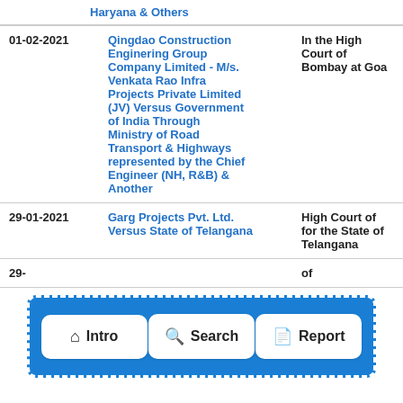Haryana & Others
| Date | Case | Court |
| --- | --- | --- |
| 01-02-2021 | Qingdao Construction Enginering Group Company Limited - M/s. Venkata Rao Infra Projects Private Limited (JV) Versus Government of India Through Ministry of Road Transport & Highways represented by the Chief Engineer (NH, R&B) & Another | In the High Court of Bombay at Goa |
| 29-01-2021 | Garg Projects Pvt. Ltd. Versus State of Telangana | High Court of for the State of Telangana |
| 29- |  | of |
[Figure (screenshot): Navigation bar with three buttons: Intro (home icon), Search (magnifying glass icon), Report (document icon), displayed on a blue dashed-border rounded rectangle overlay]